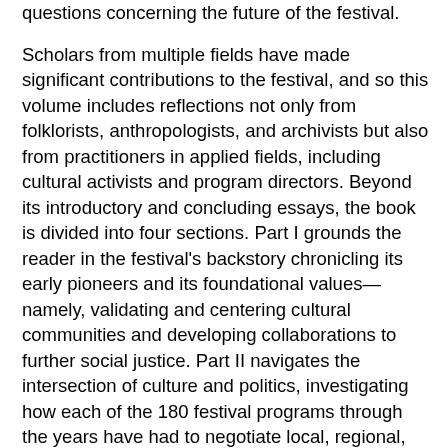questions concerning the future of the festival.
Scholars from multiple fields have made significant contributions to the festival, and so this volume includes reflections not only from folklorists, anthropologists, and archivists but also from practitioners in applied fields, including cultural activists and program directors. Beyond its introductory and concluding essays, the book is divided into four sections. Part I grounds the reader in the festival's backstory chronicling its early pioneers and its foundational values—namely, validating and centering cultural communities and developing collaborations to further social justice. Part II navigates the intersection of culture and politics, investigating how each of the 180 festival programs through the years have had to negotiate local, regional, national, or global politics. Part III delves into the craft of curating: framing each (re)presentation, delineating cultural spaces, and tailoring the scope of each program—a task that can appear impossible. Part IV addresses the impact of the SFF beyond each annual iteration and problematizes curatorial authority. The essays cover over 50 years of festival history and dozens of cultural programs. While the book's central organizing principle is the curatorial